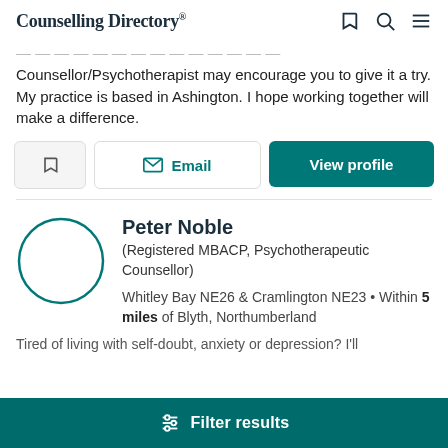Counselling Directory
Counsellor/Psychotherapist may encourage you to give it a try. My practice is based in Ashington. I hope working together will make a difference.
Peter Noble
(Registered MBACP, Psychotherapeutic Counsellor)
Whitley Bay NE26 & Cramlington NE23 • Within 5 miles of Blyth, Northumberland
Tired of living with self-doubt, anxiety or depression? I'll